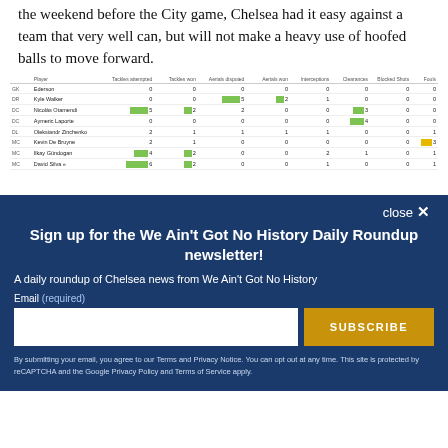the weekend before the City game, Chelsea had it easy against a team that very well can, but will not make a heavy use of hoofed balls to move forward.
|  | Player | Tackles attempted | Tackles won | Aerials disputed | Aerials won | Interceptions | Clearances | Blocked Shots | Fouls |
| --- | --- | --- | --- | --- | --- | --- | --- | --- | --- |
| GK | Ederson | 0 | 0 | 0 | 0 | 0 | 0 | 0 | 0 |
| DR | Kyle Walker | 0 | 0 | 5 | 2 | 1 | 0 | 0 | 0 |
| DC | Nicolás Otamendi | 5 | 2 | 2 | 0 | 0 | 3 | 0 | 0 |
| DC | Aymeric Laporte | 0 | 0 | 0 | 0 | 0 | 4 | 0 | 0 |
| DL | Oleksandr Zinchenko | 2 | 1 | 1 | 1 | 1 | 0 | 0 | 1 |
| MC | Kevin De Bruyne | 2 | 1 | 0 | 0 | 0 | 0 | 0 | 3 |
| MC | Ilkay Gündogan | 4 | 2 | 0 | 0 | 2 | 1 | 0 | 1 |
| MC | David Silva » | 6 | 2 | 0 | 0 | 1 | 0 | 0 | 1 |
Sign up for the We Ain't Got No History Daily Roundup newsletter!
A daily roundup of Chelsea news from We Ain't Got No History
By submitting your email, you agree to our Terms and Privacy Notice. You can opt out at any time. This site is protected by reCAPTCHA and the Google Privacy Policy and Terms of Service apply.